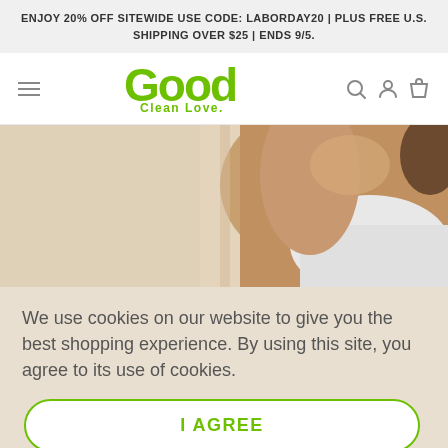ENJOY 20% OFF SITEWIDE USE CODE: LABORDAY20 | PLUS FREE U.S. SHIPPING OVER $25 | ENDS 9/5.
[Figure (logo): Good Clean Love logo in green with hamburger menu on left and search/account/cart icons on right]
[Figure (photo): Close-up photo of a woman's back/shoulder area wearing a white top, on a beige/tan background]
We use cookies on our website to give you the best shopping experience. By using this site, you agree to its use of cookies.
I AGREE